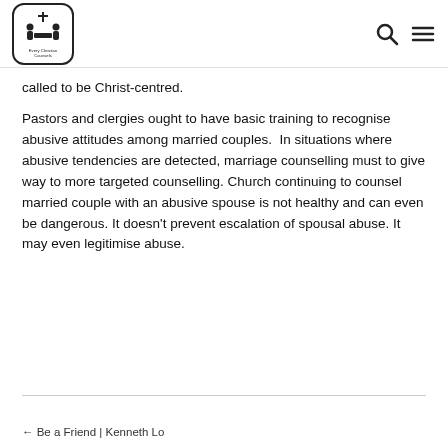Every Christian Counsels [logo] [search icon] [menu icon]
called to be Christ-centred.
Pastors and clergies ought to have basic training to recognise abusive attitudes among married couples. In situations where abusive tendencies are detected, marriage counselling must to give way to more targeted counselling. Church continuing to counsel married couple with an abusive spouse is not healthy and can even be dangerous. It doesn't prevent escalation of spousal abuse. It may even legitimise abuse.
← Be a Friend | Kenneth Lo